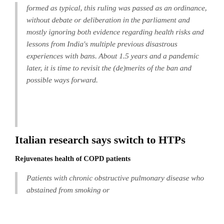formed as typical, this ruling was passed as an ordinance, without debate or deliberation in the parliament and mostly ignoring both evidence regarding health risks and lessons from India's multiple previous disastrous experiences with bans. About 1.5 years and a pandemic later, it is time to revisit the (de)merits of the ban and possible ways forward.
Italian research says switch to HTPs
Rejuvenates health of COPD patients
Patients with chronic obstructive pulmonary disease who abstained from smoking or